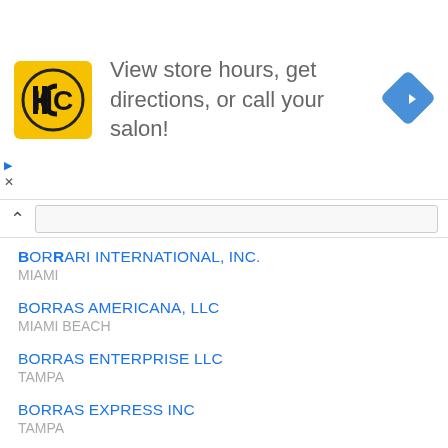[Figure (screenshot): Advertisement banner with yellow HC logo, text 'View store hours, get directions, or call your salon!', and a blue diamond-shaped directions icon on the right.]
BORRARI INTERNATIONAL, INC.
MIAMI
BORRAS AMERICANA, LLC
MIAMI BEACH
BORRAS ENTERPRISE LLC
TAMPA
BORRAS EXPRESS INC
TAMPA
BORRAS FAMILY RESTAURANT, LLC
DADE CITY
BORRAS HAULING CORP.
JACKSONVILLE